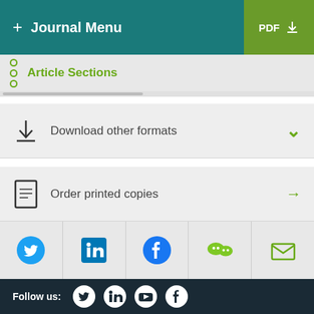+ Journal Menu | PDF
Article Sections
Download other formats
Order printed copies
[Figure (other): Social sharing icons: Twitter, LinkedIn, Facebook, WeChat, Email]
Follow us: [Twitter] [LinkedIn] [YouTube] [Facebook]